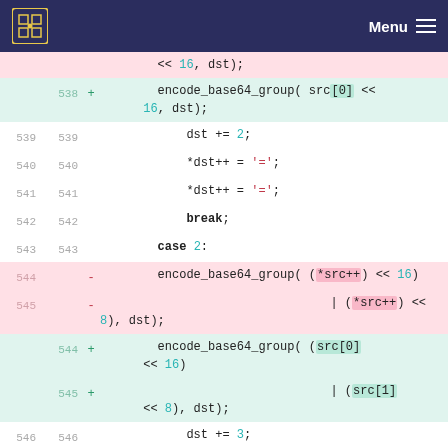Menu
[Figure (screenshot): Code diff view showing lines 538-548 of a C file with encode_base64_group function calls, showing removed lines (pink) and added lines (green) in a diff format.]